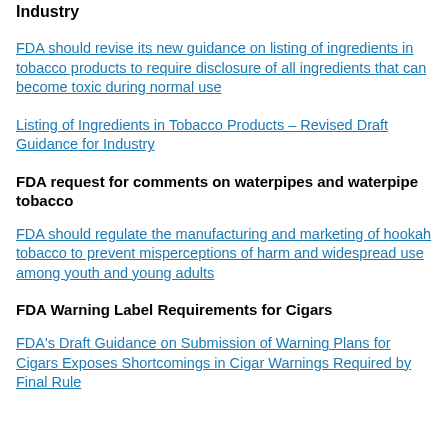Industry
FDA should revise its new guidance on listing of ingredients in tobacco products to require disclosure of all ingredients that can become toxic during normal use
Listing of Ingredients in Tobacco Products – Revised Draft Guidance for Industry
FDA request for comments on waterpipes and waterpipe tobacco
FDA should regulate the manufacturing and marketing of hookah tobacco to prevent misperceptions of harm and widespread use among youth and young adults
FDA Warning Label Requirements for Cigars
FDA's Draft Guidance on Submission of Warning Plans for Cigars Exposes Shortcomings in Cigar Warnings Required by Final Rule